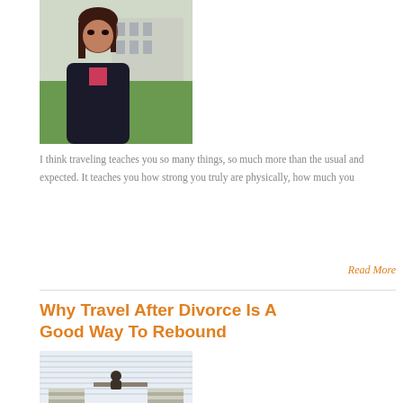[Figure (photo): Woman taking a selfie outdoors with a building and green lawn in the background, wearing a dark jacket with pink accents]
I think traveling teaches you so many things, so much more than the usual and expected. It teaches you how strong you truly are physically, how much you
Read More
Why Travel After Divorce Is A Good Way To Rebound
[Figure (photo): Person sitting alone at a table in what appears to be a lounge or waiting area with striped seating and large windows with blinds]